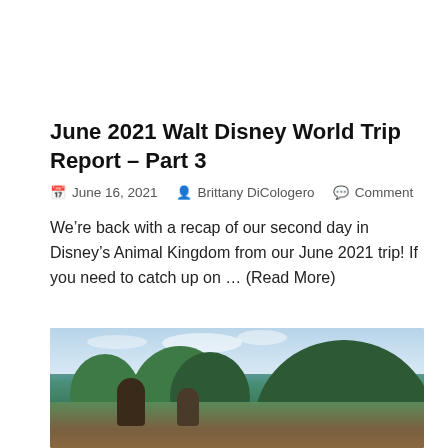June 2021 Walt Disney World Trip Report – Part 3
June 16, 2021   Brittany DiCologero   Comment
We're back with a recap of our second day in Disney's Animal Kingdom from our June 2021 trip! If you need to catch up on … (Read More)
[Figure (photo): Outdoor photo showing people in front of large trees with a blue sky background, likely at Disney's Animal Kingdom.]